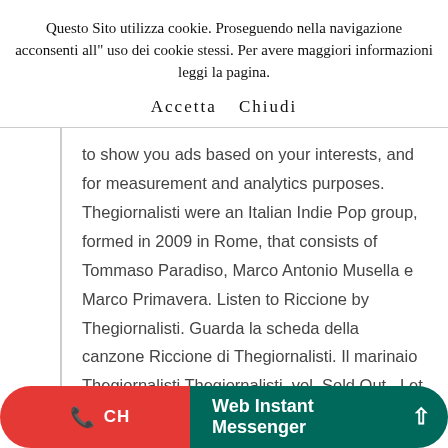Questo Sito utilizza cookie. Proseguendo nella navigazione acconsenti all" uso dei cookie stessi. Per avere maggiori informazioni leggi la pagina.
Accetta   Chiudi
to show you ads based on your interests, and for measurement and analytics purposes. Thegiornalisti were an Italian Indie Pop group, formed in 2009 in Rome, that consists of Tommaso Paradiso, Marco Antonio Musella e Marco Primavera. Listen to Riccione by Thegiornalisti. Guarda la scheda della canzone Riccione di Thegiornalisti. Il marinaio Thegiornalisti Thegiornalisti, vol. Sold Out . Let us know what you think of the Last.fm website. LOVE 2018 compra. Riccione
CH   Web Instant Messenger